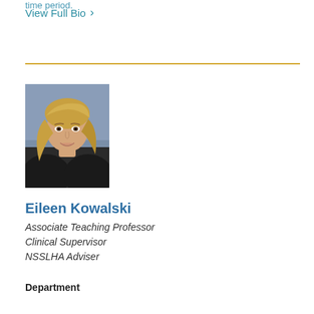time period.
View Full Bio >
[Figure (photo): Professional headshot of Eileen Kowalski, a woman with blonde hair wearing a dark top, photographed against a gray background.]
Eileen Kowalski
Associate Teaching Professor
Clinical Supervisor
NSSLHA Adviser
Department